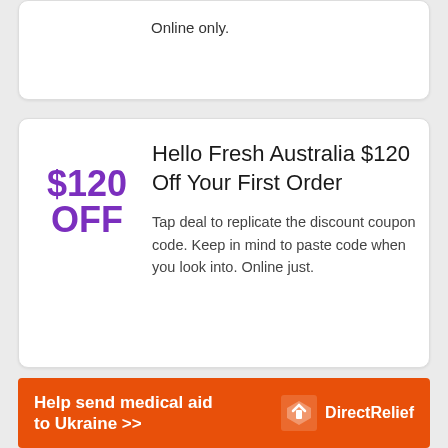Online only.
Hello Fresh Australia $120 Off Your First Order
$120 OFF
Tap deal to replicate the discount coupon code. Keep in mind to paste code when you look into. Online just.
Help send medical aid to Ukraine >> DirectRelief